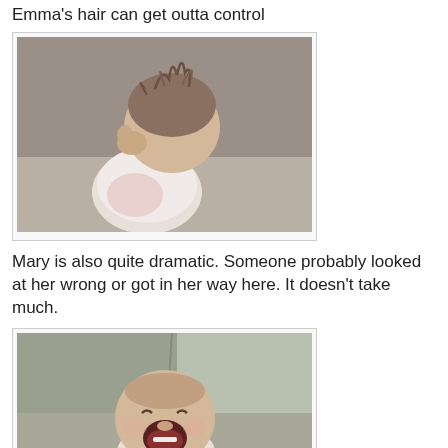Emma's hair can get outta control
[Figure (photo): Close-up photo of a baby/toddler with wispy out-of-control hair, wearing a white and pink top, viewed from behind/side, blurred background]
Mary is also quite dramatic. Someone probably looked at her wrong or got in her way here. It doesn't take much.
[Figure (photo): Photo of a baby crying dramatically, sitting against a light grey/green couch cushion]